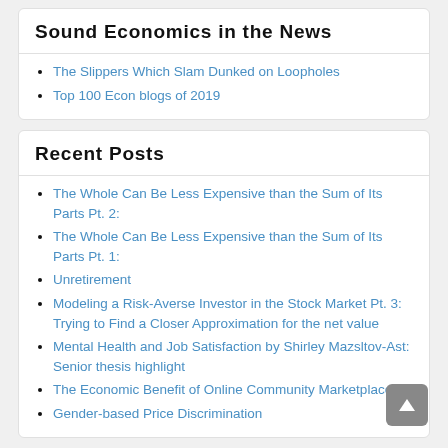Sound Economics in the News
The Slippers Which Slam Dunked on Loopholes
Top 100 Econ blogs of 2019
Recent Posts
The Whole Can Be Less Expensive than the Sum of Its Parts Pt. 2:
The Whole Can Be Less Expensive than the Sum of Its Parts Pt. 1:
Unretirement
Modeling a Risk-Averse Investor in the Stock Market Pt. 3: Trying to Find a Closer Approximation for the net value
Mental Health and Job Satisfaction by Shirley Mazsltov-Ast: Senior thesis highlight
The Economic Benefit of Online Community Marketplaces
Gender-based Price Discrimination